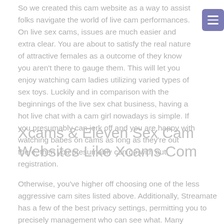So we created this cam website as a way to assist folks navigate the world of live cam performances. On live sex cams, issues are much easier and extra clear. You are about to satisfy the real nature of attractive females as a outcome of they know you aren't there to gauge them. This will let you enjoy watching cam ladies utilizing varied types of sex toys. Luckily and in comparison with the beginnings of the live sex chat business, having a hot live chat with a cam girl nowadays is simple. If you presumably can jerk off and you are happy with watching babes on cams as long as they're out there, then you presumably can go with out registration.
Xcams & Eleven Sex Cam Websites Like Xcams Com
Otherwise, you've higher off choosing one of the less aggressive cam sites listed above. Additionally, Streamate has a few of the best privacy settings, permitting you to precisely management who can see what. Many Streamate models set their privacy settings so that only paying members of the location can discover and see them. While Xmodels is based in Europe and is the #1 cam site in Europe,